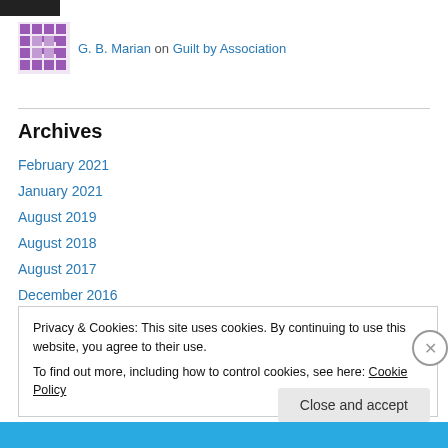[Figure (photo): Small dark photo thumbnail at top left]
G. B. Marian on Guilt by Association
Archives
February 2021
January 2021
August 2019
August 2018
August 2017
December 2016
Privacy & Cookies: This site uses cookies. By continuing to use this website, you agree to their use.
To find out more, including how to control cookies, see here: Cookie Policy
Close and accept